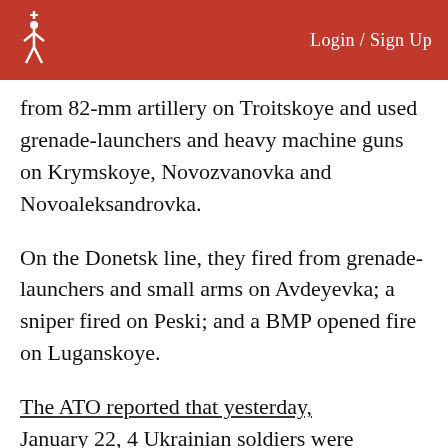Login / Sign Up
from 82-mm artillery on Troitskoye and used grenade-launchers and heavy machine guns on Krymskoye, Novozvanovka and Novoaleksandrovka.
On the Donetsk line, they fired from grenade-launchers and small arms on Avdeyevka; a sniper fired on Peski; and a BMP opened fire on Luganskoye.
The ATO reported that yesterday, January 22, 4 Ukrainian soldiers were